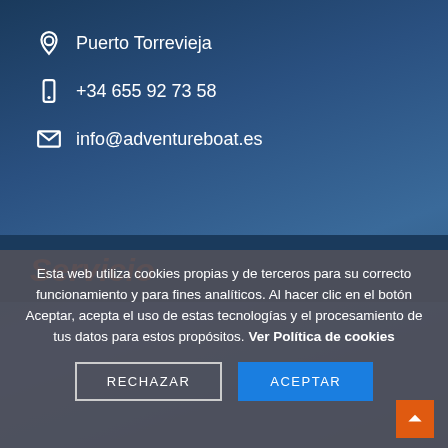Puerto Torrevieja
+34 655 92 73 58
info@adventureboat.es
Servicio
Esta web utiliza cookies propias y de terceros para su correcto funcionamiento y para fines analíticos. Al hacer clic en el botón Aceptar, acepta el uso de estas tecnologías y el procesamiento de tus datos para estos propósitos. Ver Política de cookies
RECHAZAR
ACEPTAR